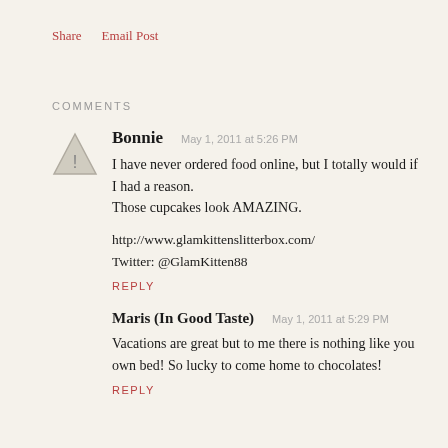Share   Email Post
COMMENTS
Bonnie  May 1, 2011 at 5:26 PM
I have never ordered food online, but I totally would if I had a reason.
Those cupcakes look AMAZING.

http://www.glamkittenslitterbox.com/
Twitter: @GlamKitten88

REPLY
Maris (In Good Taste)  May 1, 2011 at 5:29 PM
Vacations are great but to me there is nothing like you own bed! So lucky to come home to chocolates!

REPLY